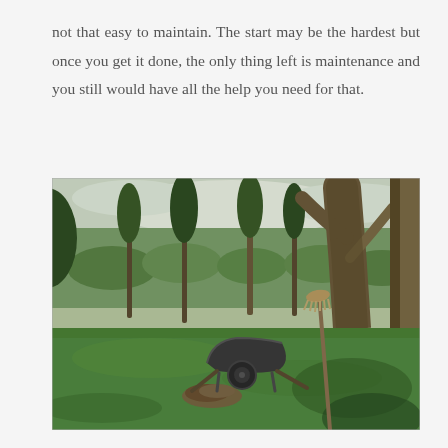not that easy to maintain. The start may be the hardest but once you get it done, the only thing left is maintenance and you still would have all the help you need for that.
[Figure (photo): A garden or park scene with green grass lawn, several tall trees including a large tree trunk on the right, a wheelbarrow in the middle ground, a broom or rake leaning against the large tree, and a pile of debris on the ground. Trees and shrubs visible in the background.]